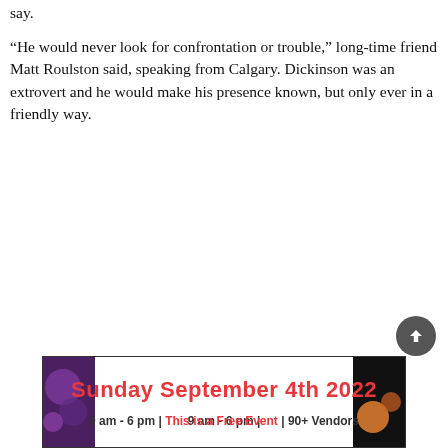say.
“He would never look for confrontation or trouble,” long-time friend Matt Roulston said, speaking from Calgary. Dickinson was an extrovert and he would make his presence known, but only ever in a friendly way.
[Figure (other): Advertisement banner for Sunday September 4th 2022 market event. Text reads: Sunday September 4th 2022 / 9 am - 6 pm | This is a Free Event | 90+ Vendors. Dark background with decorative food/vegetable imagery on left and right sides.]